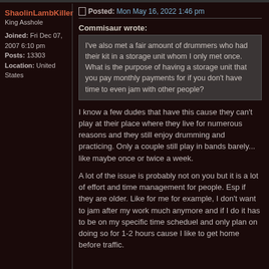ShaolinLambKiller
King Asshole
Joined: Fri Dec 07, 2007 6:10 pm
Posts: 13303
Location: United States
Posted: Mon May 16, 2022 1:46 pm
Commisaur wrote:
I've also met a fair amount of drummers who had their kit in a storage unit whom I only met once. What is the purpose of having a storage unit that you pay monthly payments for if you don't have time to even jam with other people?
I know a few dudes that have this cause they can't play at their place where they live for numerous reasons and they still enjoy drumming and practicing. Only a couple still play in bands barely... like maybe once or twice a week.
A lot of the issue is probably not on you but it is a lot of effort and time management for people. Esp if they are older. Like for me for example, I don't want to jam after my work much anymore and if I do it has to be on my specific time scheduel and only plan on doing so for 1-2 hours cause I like to get home before traffic.